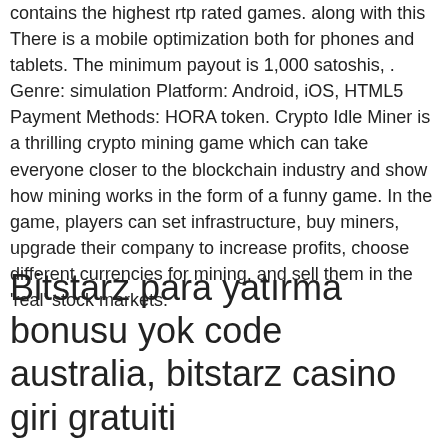contains the highest rtp rated games. along with this There is a mobile optimization both for phones and tablets. The minimum payout is 1,000 satoshis, . Genre: simulation Platform: Android, iOS, HTML5 Payment Methods: HORA token. Crypto Idle Miner is a thrilling crypto mining game which can take everyone closer to the blockchain industry and show how mining works in the form of a funny game. In the game, players can set infrastructure, buy miners, upgrade their company to increase profits, choose different currencies for mining, and sell them in the 'real' stock markets.
Bitstarz para yatırma bonusu yok code australia, bitstarz casino giri gratuiti